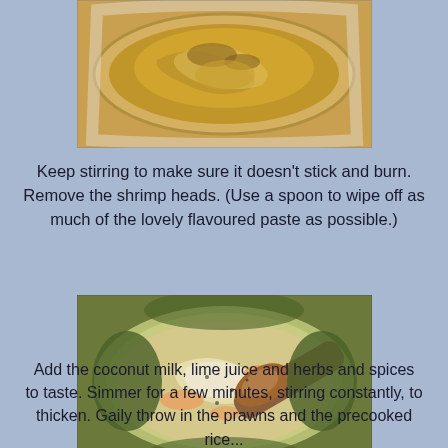[Figure (photo): Top-down view of caramelized onions or similar ingredients cooking in a white pan on a stovetop]
Keep stirring to make sure it doesn't stick and burn. Remove the shrimp heads. (Use a spoon to wipe off as much of the lovely flavoured paste as possible.)
[Figure (photo): Close-up of a creamy green curry or sauce with noodles and prawns in a pot, being stirred with a wooden spoon]
Add the coconut milk, lime juice and herbs and spices to taste. Simmer for a few minutes, stirring constantly, to thicken. Gaily throw in the prawns and the precooked rice...